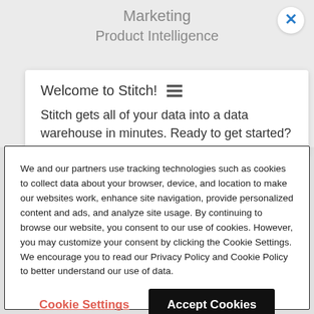Marketing
Product Intelligence
Welcome to Stitch! ≡
Stitch gets all of your data into a data warehouse in minutes. Ready to get started?
We and our partners use tracking technologies such as cookies to collect data about your browser, device, and location to make our websites work, enhance site navigation, provide personalized content and ads, and analyze site usage. By continuing to browse our website, you consent to our use of cookies. However, you may customize your consent by clicking the Cookie Settings. We encourage you to read our Privacy Policy and Cookie Policy to better understand our use of data.
Cookie Settings
Accept Cookies